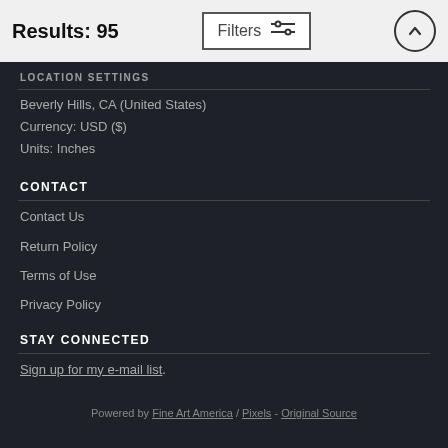Results: 95
LOCATION SETTINGS
Beverly Hills, CA (United States)
Currency: USD ($)
Units: Inches
CONTACT
Contact Us
Return Policy
Terms of Use
Privacy Policy
STAY CONNECTED
Sign up for my e-mail list.
Powered by Fine Art America / Pixels - Original Source